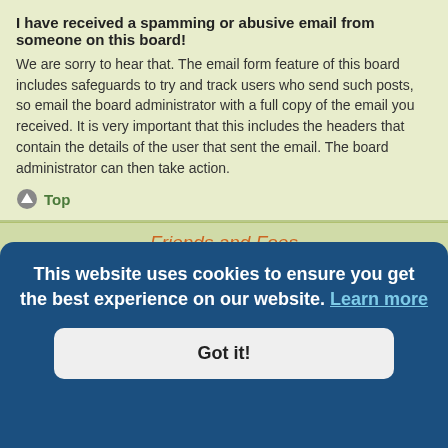I have received a spamming or abusive email from someone on this board!
We are sorry to hear that. The email form feature of this board includes safeguards to try and track users who send such posts, so email the board administrator with a full copy of the email you received. It is very important that this includes the headers that contain the details of the user that sent the email. The board administrator can then take action.
Top
Friends and Foes
What are my Friends and Foes lists?
You can use these lists to organise other members of the board. Members added to your friends list will be listed within your User Control Panel for quick ... Subject to ... you add a
This website uses cookies to ensure you get the best experience on our website. Learn more
Got it!
there is a link to add them to either your Friend or Foe list. Alternatively, from your User Control Panel...